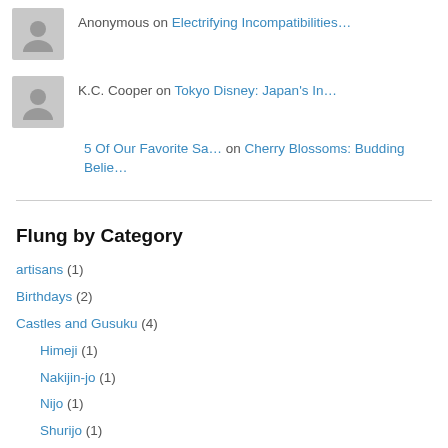Anonymous on Electrifying Incompatibilities…
K.C. Cooper on Tokyo Disney: Japan's In…
5 Of Our Favorite Sa… on Cherry Blossoms: Budding Belie…
Flung by Category
artisans (1)
Birthdays (2)
Castles and Gusuku (4)
Himeji (1)
Nakijin-jo (1)
Nijo (1)
Shurijo (1)
Family & Friends (26)
Far East Culinary Adventures (7)